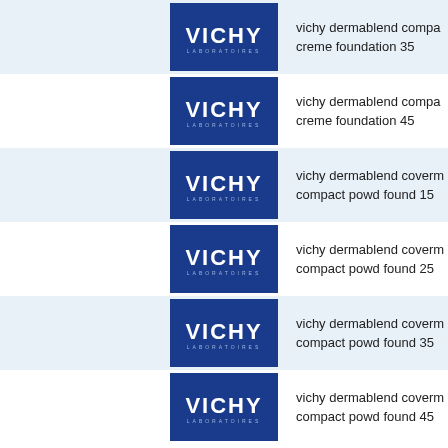vichy dermablend compa creme foundation 35
vichy dermablend compa creme foundation 45
vichy dermablend coverm compact powd found 15
vichy dermablend coverm compact powd found 25
vichy dermablend coverm compact powd found 35
vichy dermablend coverm compact powd found 45